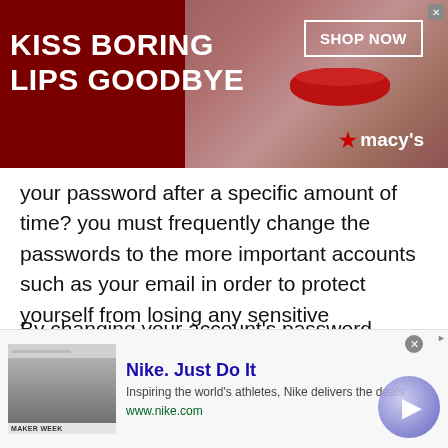[Figure (other): Macy's advertisement banner: dark red background with woman's face showing red lips, text 'KISS BORING LIPS GOODBYE', 'SHOP NOW' button in white border box, Macy's star logo]
your password after a specific amount of time? you must frequently change the passwords to the more important accounts such as your email in order to protect yourself from losing any sensitive information.
By changing your account's password regularly, the chance of your account being accessed is reduced. Just to be sure, set a reminder for 90 days on your phone, or calendar and change your password frequently. This will remind you to change your password every day.
[Figure (other): Nike advertisement: thumbnail image of text/webpage, Nike. Just Do It headline in blue, description 'Inspiring the world's athletes, Nike delivers the deals', URL www.nike.com, circular play button on right]